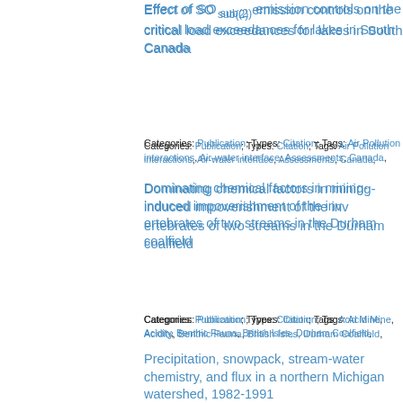Effect of SO sub(2) emission controls on the critical load exceedances for lakes in South Canada
Categories: Publication; Types: Citation; Tags: Air Pollution interactions, Air-water interface, Assessments, Canada,
Dominating chemical factors in mining-induced impoverishment of the invertebrates of two streams in the Durham coalfield
Categories: Publication; Types: Citation; Tags: Acid Mine, Acidity, Benthic Fauna, British Isles, Durham Coalfield,
Precipitation, snowpack, stream-water chemistry, and flux in a northern Michigan watershed, 1982-1991
Categories: Publication; Types: Citation; Tags: SW 0880, USA, Michigan, Water Resources Abstracts, chemistry, desorption, All tags...
Evidence for human influence on...